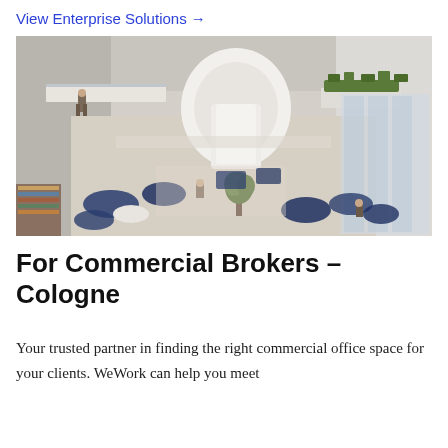View Enterprise Solutions →
[Figure (photo): Interior atrium view of a modern co-working office space, showing multiple floors with glass railings, white curved architectural elements, blue seating areas, plants, and large windows. A person is visible walking on an upper level.]
For Commercial Brokers – Cologne
Your trusted partner in finding the right commercial office space for your clients. WeWork can help you meet